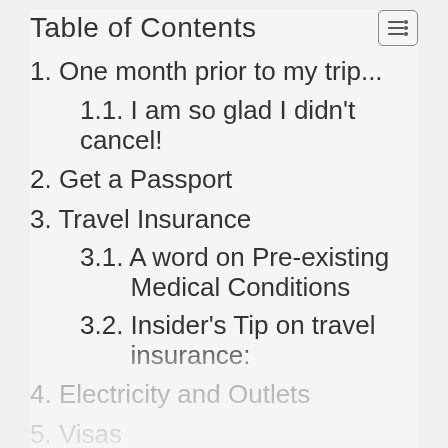Table of Contents
1. One month prior to my trip...
1.1. I am so glad I didn't cancel!
2. Get a Passport
3. Travel Insurance
3.1. A word on Pre-existing Medical Conditions
3.2. Insider's Tip on travel insurance:
4. Electricity and Outlets
5. Visas
6. Doctors' Visits and Vaccinations
7. Preparing to Leave Your